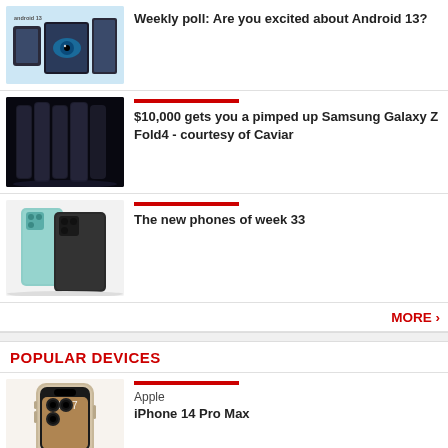[Figure (screenshot): Android 13 promotional image with devices and android13 logo on light blue background]
Weekly poll: Are you excited about Android 13?
[Figure (photo): Samsung Galaxy Z Fold4 pimped up version by Caviar, dark background]
$10,000 gets you a pimped up Samsung Galaxy Z Fold4 - courtesy of Caviar
[Figure (photo): Two smartphones in teal and dark color shown from back, new phones of week 33]
The new phones of week 33
MORE ›
POPULAR DEVICES
[Figure (photo): Apple iPhone 14 Pro Max product image]
Apple
iPhone 14 Pro Max